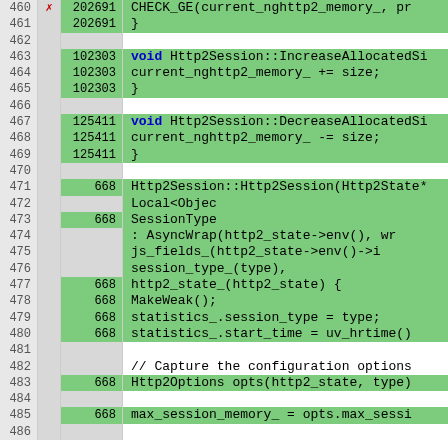[Figure (screenshot): Code coverage view showing C++ source lines 460-486 of Http2Session implementation. Green rows indicate covered lines, white/gray rows indicate uncovered or non-executable lines. Columns show line number, hit indicator, execution count, and source code.]